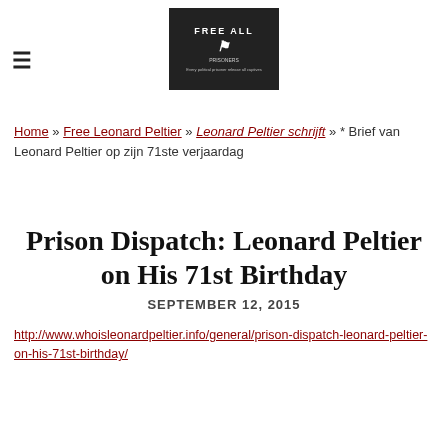[Figure (logo): Website header logo showing 'FREE ALL PRISONERS' graphic on dark background]
Home » Free Leonard Peltier » Leonard Peltier schrijft » * Brief van Leonard Peltier op zijn 71ste verjaardag
Prison Dispatch: Leonard Peltier on His 71st Birthday
SEPTEMBER 12, 2015
http://www.whoisleonardpeltier.info/general/prison-dispatch-leonard-peltier-on-his-71st-birthday/